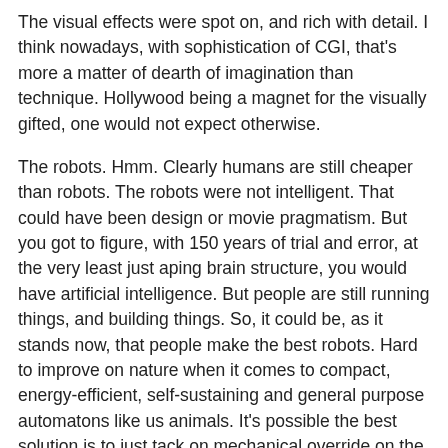The visual effects were spot on, and rich with detail. I think nowadays, with sophistication of CGI, that's more a matter of dearth of imagination than technique. Hollywood being a magnet for the visually gifted, one would not expect otherwise.
The robots. Hmm. Clearly humans are still cheaper than robots. The robots were not intelligent. That could have been design or movie pragmatism. But you got to figure, with 150 years of trial and error, at the very least just aping brain structure, you would have artificial intelligence. But people are still running things, and building things. So, it could be, as it stands now, that people make the best robots. Hard to improve on nature when it comes to compact, energy-efficient, self-sustaining and general purpose automatons like us animals. It's possible the best solution is to just tack on mechanical override on the brain, and use people as robots. In any case, doesn't really matter. They were there for what they needed to be there for.
I have speculated in the previous essay that perhaps it would be the working poor who live-to-work in space, and the